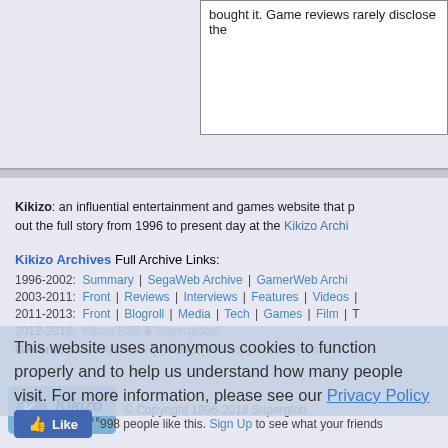bought it. Game reviews rarely disclose the
Kikizo: an influential entertainment and games website that p... out the full story from 1996 to present day at the Kikizo Archi...
Kikizo Archives Full Archive Links:
1996-2002: Summary | SegaWeb Archive | GamerWeb Archi...
2003-2011: Front | Reviews | Interviews | Features | Videos |
2011-2013: Front | Blogroll | Media | Tech | Games | Film | T...
2012-2018: Kikizo B2B & Superglobal
General: Kikizo Archives | Contact | Privacy | Forum | Facel...
This website uses anonymous cookies to function properly and to help us understand how many people visit. For more information, please see our Privacy Policy
998 people like this. Sign Up to see what your friends...
[Figure (logo): Kikizo Network logo with blue background]
© Copyright 1996-2018 Superglob...